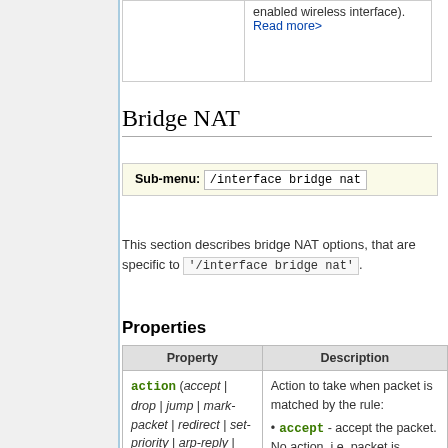|  | Description |
| --- | --- |
|  | enabled wireless interface). Read more> |
Bridge NAT
| Sub-menu: | /interface bridge nat |
This section describes bridge NAT options, that are specific to '/interface bridge nat'.
Properties
| Property | Description |
| --- | --- |
| action (accept | drop | jump | mark-packet | redirect | set-priority | arp-reply | dst-nat | log | passthrough | return | src-nat; Default: accept) | Action to take when packet is matched by the rule:
accept - accept the packet. No action, i.e. packet is... |